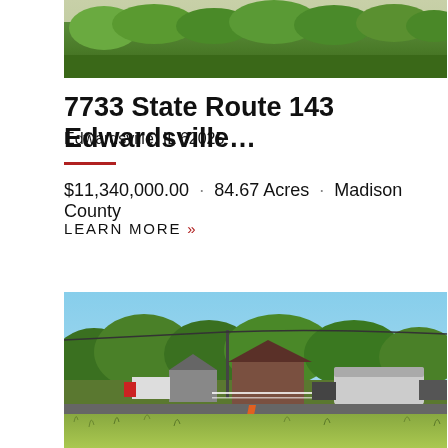[Figure (photo): Aerial/landscape view of farmland with treeline in the background]
7733 State Route 143 Edwardsville…
Edwardsville, IL 62025
$11,340,000.00 · 84.67 Acres · Madison County
LEARN MORE »
[Figure (photo): Street-level view of rural property with buildings, RV, orange traffic cone, fence, and vegetated foreground along a road]